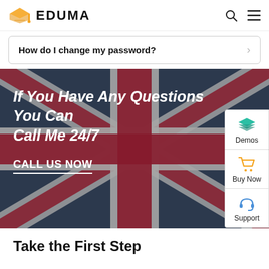EDUMA
How do I change my password?
[Figure (photo): Hero banner with a blurred UK Union Jack flag background. White italic bold text reads: 'If You Have Any Questions You Can Call Me 24/7' and below 'CALL US NOW' with an underline. Side panel shows Demos, Buy Now, and Support buttons.]
Take the First Step